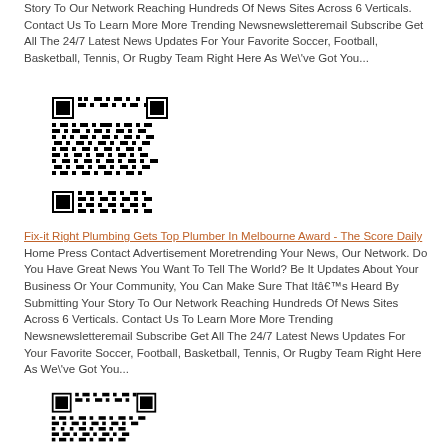Story To Our Network Reaching Hundreds Of News Sites Across 6 Verticals. Contact Us To Learn More More Trending Newsnewsletteremail Subscribe Get All The 24/7 Latest News Updates For Your Favorite Soccer, Football, Basketball, Tennis, Or Rugby Team Right Here As We\'ve Got You...
[Figure (other): QR code image (black and white)]
Fix-it Right Plumbing Gets Top Plumber In Melbourne Award - The Score Daily
Home Press Contact Advertisement Moretrending Your News, Our Network. Do You Have Great News You Want To Tell The World? Be It Updates About Your Business Or Your Community, You Can Make Sure That Itâ€™s Heard By Submitting Your Story To Our Network Reaching Hundreds Of News Sites Across 6 Verticals. Contact Us To Learn More More Trending Newsnewsletteremail Subscribe Get All The 24/7 Latest News Updates For Your Favorite Soccer, Football, Basketball, Tennis, Or Rugby Team Right Here As We\'ve Got You...
[Figure (other): QR code image (black and white)]